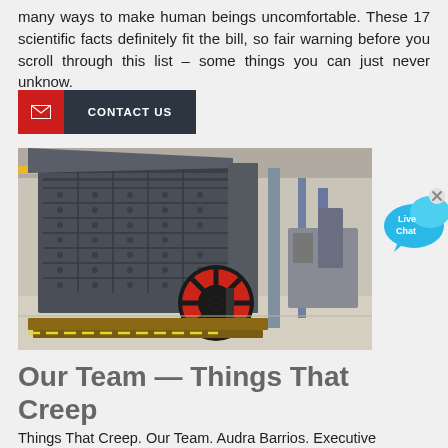many ways to make human beings uncomfortable. These 17 scientific facts definitely fit the bill, so fair warning before you scroll through this list – some things you can just never unknow.
[Figure (infographic): Red and dark gray CONTACT US button with envelope icon on left side]
[Figure (photo): Large industrial impact crusher machine in a factory warehouse, predominantly gray with a red and black flywheel, on wooden skids]
[Figure (infographic): Live Chat speech bubble button in cyan/blue color with X close button]
Our Team — Things That Creep
Things That Creep. Our Team. Audra Barrios. Executive